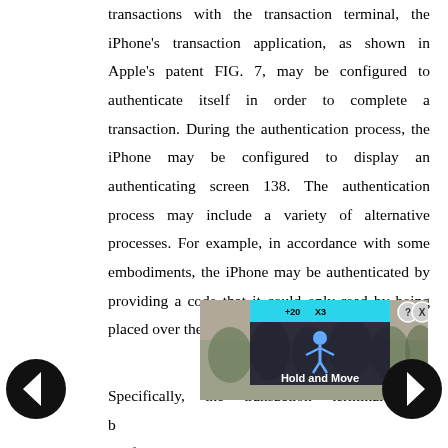transactions with the transaction terminal, the iPhone's transaction application, as shown in Apple's patent FIG. 7, may be configured to authenticate itself in order to complete a transaction. During the authentication process, the iPhone may be configured to display an authenticating screen 138. The authentication process may include a variety of alternative processes. For example, in accordance with some embodiments, the iPhone may be authenticated by providing a code that it could only read by being placed over the box 134 (shown in FIG 6).
[Figure (screenshot): An advertisement overlay showing a 'Hold and Move' game/app ad with a dark background, blue bar with score indicators, person silhouette icon, and a forest background photo. Navigation arrows (left and right) appear on either side.]
Specifically, the transaction terminal may be configured to display a code on the screen 134 within